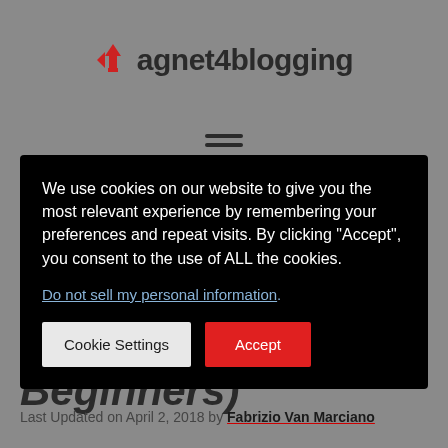magnet4blogging
We use cookies on our website to give you the most relevant experience by remembering your preferences and repeat visits. By clicking “Accept”, you consent to the use of ALL the cookies.
Do not sell my personal information.
Cookie Settings  Accept
Beginners)
Last Updated on April 2, 2018 by Fabrizio Van Marciano